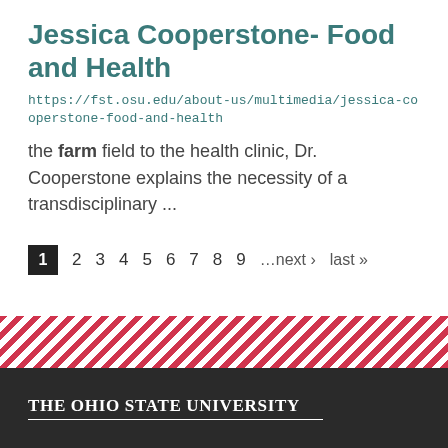Jessica Cooperstone- Food and Health
https://fst.osu.edu/about-us/multimedia/jessica-cooperstone-food-and-health
the farm field to the health clinic, Dr. Cooperstone explains the necessity of a transdisciplinary ...
1 2 3 4 5 6 7 8 9 …next › last »
The Ohio State University